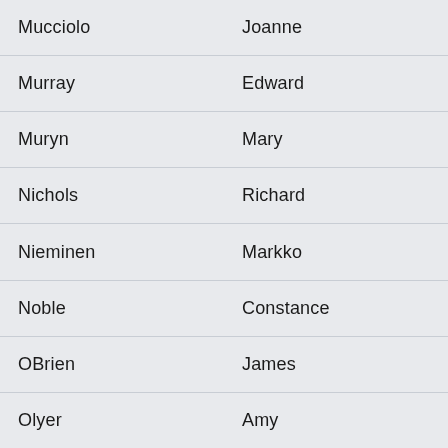| Last Name | First Name |
| --- | --- |
| Mucciolo | Joanne |
| Murray | Edward |
| Muryn | Mary |
| Nichols | Richard |
| Nieminen | Markko |
| Noble | Constance |
| OBrien | James |
| Olyer | Amy |